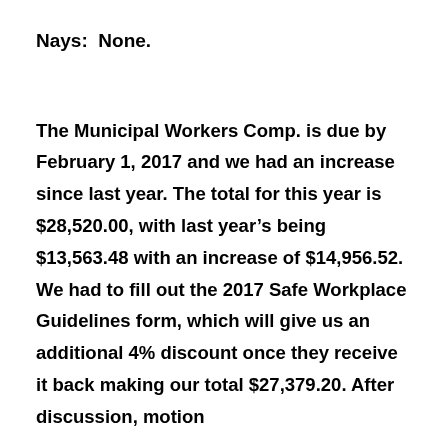Nays:  None.
The Municipal Workers Comp. is due by February 1, 2017 and we had an increase since last year. The total for this year is $28,520.00, with last year’s being $13,563.48 with an increase of $14,956.52. We had to fill out the 2017 Safe Workplace Guidelines form, which will give us an additional 4% discount once they receive it back making our total $27,379.20. After discussion, motion